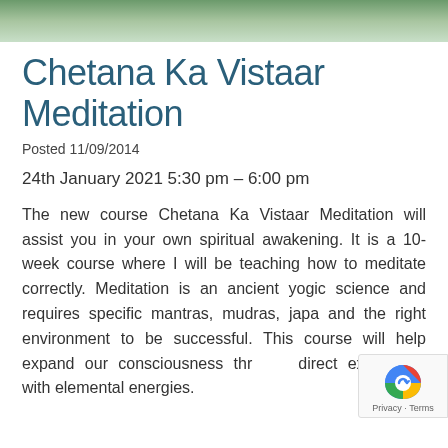[Figure (photo): Green nature/foliage header banner image]
Chetana Ka Vistaar Meditation
Posted 11/09/2014
24th January 2021 5:30 pm – 6:00 pm
The new course Chetana Ka Vistaar Meditation will assist you in your own spiritual awakening. It is a 10-week course where I will be teaching how to meditate correctly. Meditation is an ancient yogic science and requires specific mantras, mudras, japa and the right environment to be successful. This course will help expand our consciousness through direct experience with elemental energies.